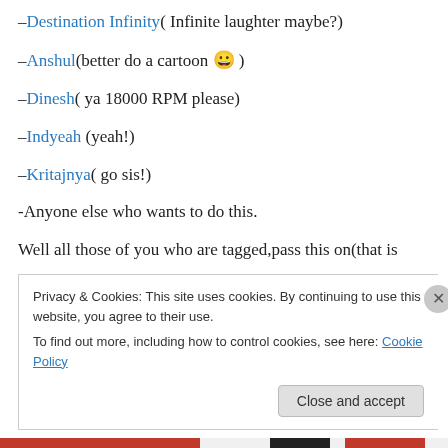–Destination Infinity( Infinite laughter maybe?)
–Anshul(better do a cartoon 😀 )
–Dinesh( ya 18000 RPM please)
–Indyeah (yeah!)
–Kritajnya( go sis!)
-Anyone else who wants to do this.
Well all those of you who are tagged,pass this on(that is
Privacy & Cookies: This site uses cookies. By continuing to use this website, you agree to their use.
To find out more, including how to control cookies, see here: Cookie Policy